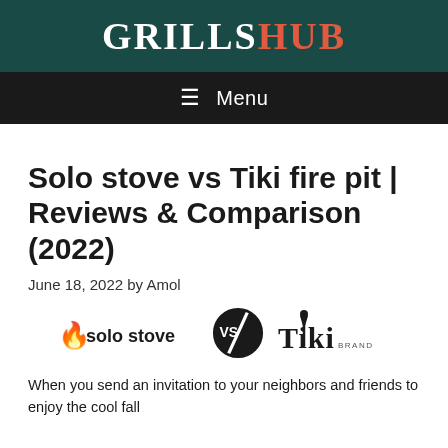GRILLSHUB
Solo stove vs Tiki fire pit | Reviews & Comparison (2022)
June 18, 2022 by Amol
[Figure (logo): Solo Stove logo vs Tiki Brand logo side by side with a circular VS badge in the middle]
When you send an invitation to your neighbors and friends to enjoy the cool fall